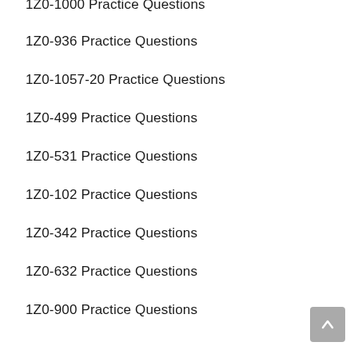1Z0-1000 Practice Questions
1Z0-936 Practice Questions
1Z0-1057-20 Practice Questions
1Z0-499 Practice Questions
1Z0-531 Practice Questions
1Z0-102 Practice Questions
1Z0-342 Practice Questions
1Z0-632 Practice Questions
1Z0-900 Practice Questions